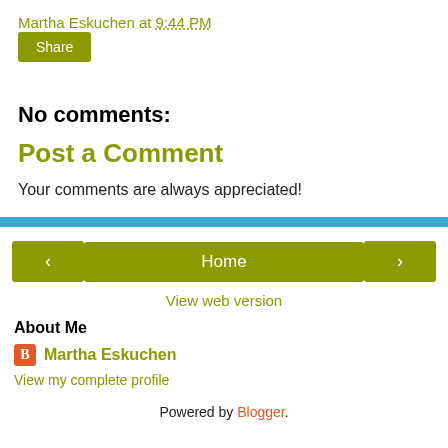Martha Eskuchen at 9:44 PM
Share
No comments:
Post a Comment
Your comments are always appreciated!
‹   Home   ›
View web version
About Me
Martha Eskuchen
View my complete profile
Powered by Blogger.